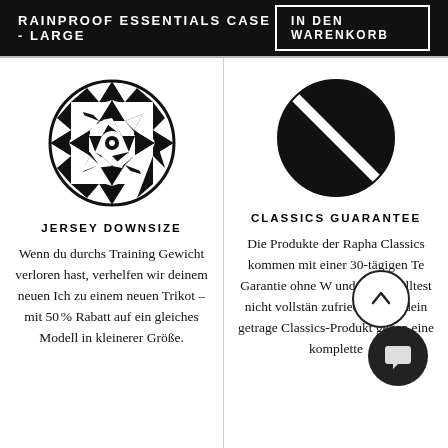RAINPROOF ESSENTIALS CASE - LARGE
IN DEN WARENKORB
[Figure (illustration): Black and white circular geometric pattern with star/diamond tessellation motif]
JERSEY DOWNSIZE
Wenn du durchs Training Gewicht verloren hast, verhelfen wir deinem neuen Ich zu einem neuen Trikot – mit 50 % Rabatt auf ein gleiches Modell in kleinerer Größe.
[Figure (illustration): Black circle with diagonal white stripe slash through it — prohibition/no symbol]
CLASSICS GUARANTEE
Die Produkte der Rapha Classics kommen mit einer 30-tägigen Te Garantie ohne W und Aber. Solltest nicht vollstän zufrieden sein, dein getrage Classics-Produkt gegen eine komplette